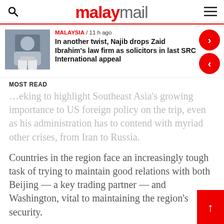malaymail
[Figure (photo): Thumbnail photo of a person wearing a mask and waving]
MALAYSIA / 11 h ago
In another twist, Najib drops Zaid Ibrahim's law firm as solicitors in last SRC International appeal
MOST READ
seeking to highlight Southeast Asia's growing importance to US foreign policy on the trip, even as his administration has to contend with myriad other crises, from Iran to Russia.
Countries in the region face an increasingly tough task of trying to maintain good relations with both Beijing — a key trading partner — and Washington, vital to maintaining the region's security.
Russia is also trying to assert its influence in the region.
After holding talks with Blinken yesterday, Indonesian President Joko Widodo met Security Council Secretary